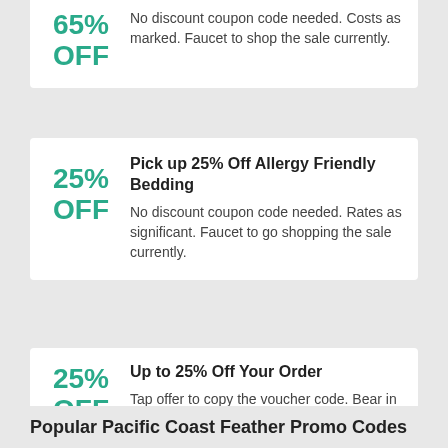65% OFF — No discount coupon code needed. Costs as marked. Faucet to shop the sale currently.
Pick up 25% Off Allergy Friendly Bedding
25% OFF — No discount coupon code needed. Rates as significant. Faucet to go shopping the sale currently.
Up to 25% Off Your Order
25% OFF — Tap offer to copy the voucher code. Bear in mind to paste code when you check out. Online only.
Popular Pacific Coast Feather Promo Codes